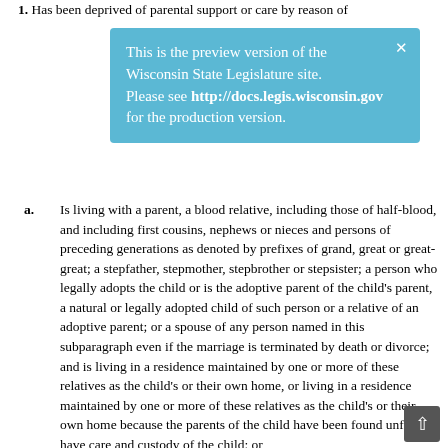1. Has been deprived of parental support or care by reason of
This is the preview version of the Wisconsin State Legislature site. Please see http://docs.legis.wisconsin.gov for the production version.
a. Is living with a parent, a blood relative, including those of half-blood, and including first cousins, nephews or nieces and persons of preceding generations as denoted by prefixes of grand, great or great-great; a stepfather, stepmother, stepbrother or stepsister; a person who legally adopts the child or is the adoptive parent of the child's parent, a natural or legally adopted child of such person or a relative of an adoptive parent; or a spouse of any person named in this subparagraph even if the marriage is terminated by death or divorce; and is living in a residence maintained by one or more of these relatives as the child's or their own home, or living in a residence maintained by one or more of these relatives as the child's or their own home because the parents of the child have been found unfit to have care and custody of the child; or
b. Is living in a foster home licensed under s. 48.62 if a license is required under that section, in a foster home located within the boundaries of a federally recognized American Indian reservation in this state and licensed